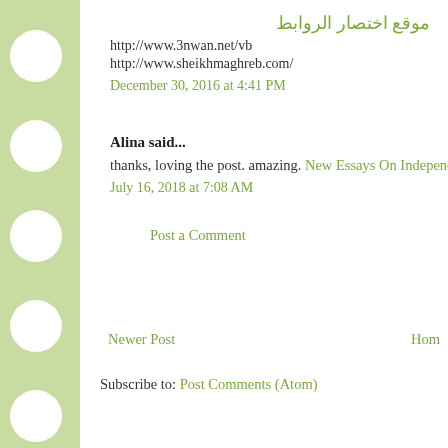موقع اختصار الروابط
http://www.3nwan.net/vb
http://www.sheikhmaghreb.com/
December 30, 2016 at 4:41 PM
Alina said...
thanks, loving the post. amazing. New Essays On Independe...
July 16, 2018 at 7:08 AM
Post a Comment
Newer Post
Hom...
Subscribe to: Post Comments (Atom)